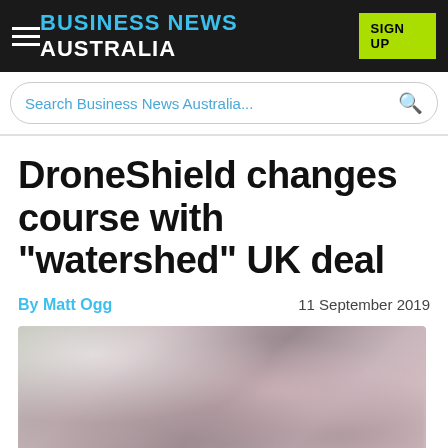BUSINESS NEWS AUSTRALIA — SIGN UP
Search Business News Australia...
DroneShield changes course with "watershed" UK deal
By Matt Ogg    11 September 2019
[Figure (photo): Blurred close-up photo of a person's face, only partially visible, with soft focus and muted tones.]